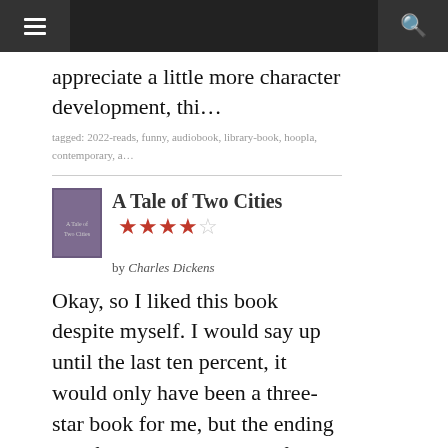Navigation bar with menu and search icons
appreciate a little more character development, thi...
tagged: 2022-reads, funny, audiobook, library-book, hoopla, contemporary, a...
A Tale of Two Cities ★★★★☆ by Charles Dickens
Okay, so I liked this book despite myself. I would say up until the last ten percent, it would only have been a three-star book for me, but the ending bit of the book was powerful enough for me to give it